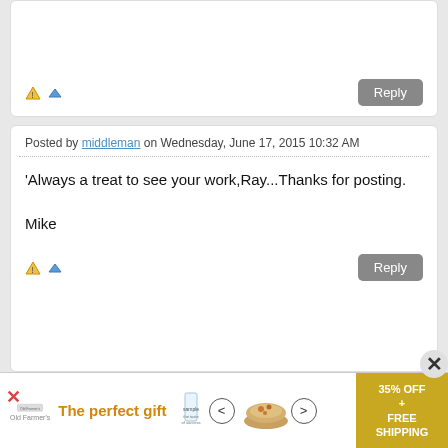Posted by middleman on Wednesday, June 17, 2015 10:32 AM
'Always a treat to see your work,Ray...Thanks for posting.

Mike
Reply
Posted by Ray Dunakin on Wednesday, June 17, 2015 12:22 PM
[Figure (infographic): Advertisement banner: 'The perfect gift' with food bowl image, 35% OFF + FREE SHIPPING offer, navigation arrows, and glass graphic.]